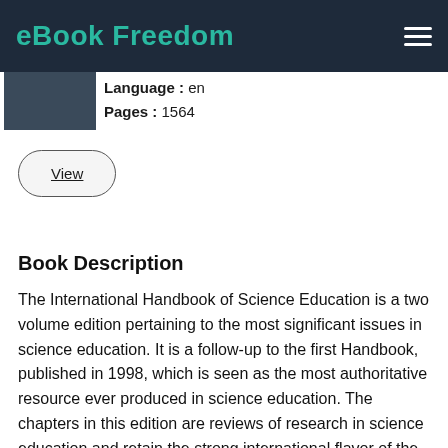eBook Freedom
Language: en
Pages: 1564
View
Book Description
The International Handbook of Science Education is a two volume edition pertaining to the most significant issues in science education. It is a follow-up to the first Handbook, published in 1998, which is seen as the most authoritative resource ever produced in science education. The chapters in this edition are reviews of research in science education and retain the strong international flavor of the project. It covers the diverse theories and methods that have been a foundation for science education and continue to characterize this field. Each section contains a lead chapter that provides an overview and synthesis of the field and related chapters that provide a narrower focus on research and current thinking on the key issues in that field. Leading researchers from around the world have participated as authors and consultants to produce a